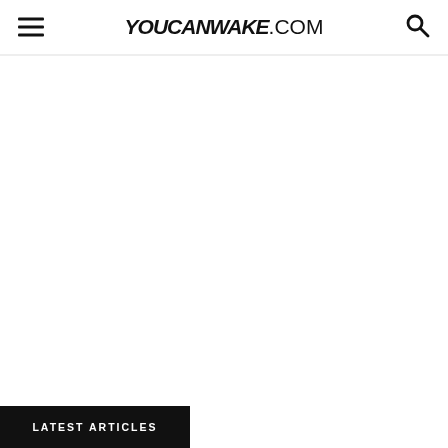YOUCANWAKE.COM
LATEST ARTICLES